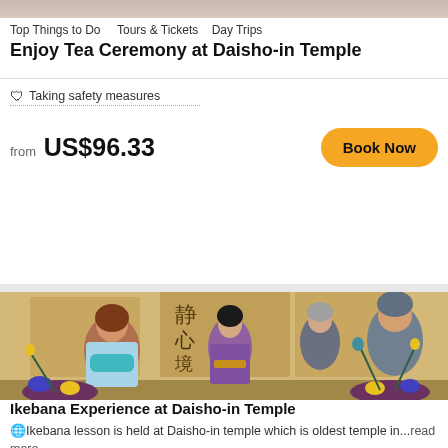[Figure (photo): Partial top image of a tea ceremony or similar activity]
Top Things to Do    Tours & Tickets    Day Trips
Enjoy Tea Ceremony at Daisho-in Temple
🛡 Taking safety measures
from US$96.33
Book Now
[Figure (photo): Group photo at Daisho-in Temple: a woman in a light blue sweater with a teal scarf, a woman in a purple kimono, an older man, and a man in a grey beanie, surrounded by ikebana floral arrangements with yellow, blue and red flowers, in a traditional Japanese tatami room with calligraphy scrolls]
Ikebana Experience at Daisho-in Temple
🌐Ikebana lesson is held at Daisho-in temple which is oldest temple in...read more